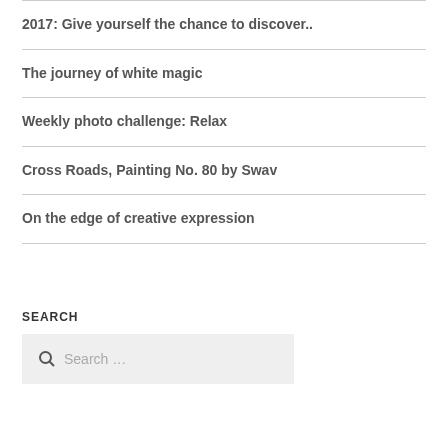2017: Give yourself the chance to discover..
The journey of white magic
Weekly photo challenge: Relax
Cross Roads, Painting No. 80 by Swav
On the edge of creative expression
SEARCH